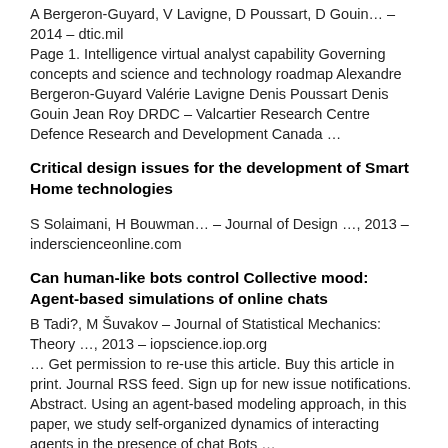A Bergeron-Guyard, V Lavigne, D Poussart, D Gouin… – 2014 – dtic.mil
Page 1. Intelligence virtual analyst capability Governing concepts and science and technology roadmap Alexandre Bergeron-Guyard Valérie Lavigne Denis Poussart Denis Gouin Jean Roy DRDC – Valcartier Research Centre Defence Research and Development Canada …
Critical design issues for the development of Smart Home technologies
S Solaimani, H Bouwman… – Journal of Design …, 2013 – inderscienceonline.com
Can human-like bots control Collective mood: Agent-based simulations of online chats
B Tadi?, M Šuvakov – Journal of Statistical Mechanics: Theory …, 2013 – iopscience.iop.org
… Get permission to re-use this article. Buy this article in print. Journal RSS feed. Sign up for new issue notifications. Abstract. Using an agent-based modeling approach, in this paper, we study self-organized dynamics of interacting agents in the presence of chat Bots …
Insight into Information Extraction Method using Natural